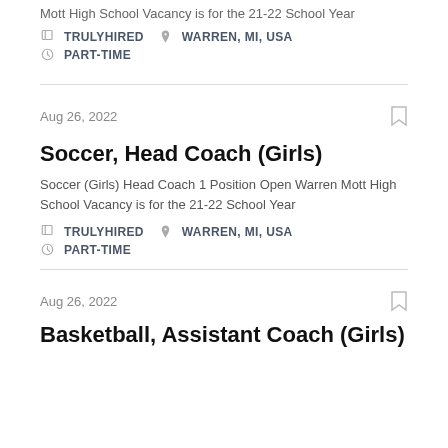Mott High School Vacancy is for the 21-22 School Year
TRULYHIRED   WARREN, MI, USA
PART-TIME
Aug 26, 2022
Soccer, Head Coach (Girls)
Soccer (Girls) Head Coach 1 Position Open Warren Mott High School Vacancy is for the 21-22 School Year
TRULYHIRED   WARREN, MI, USA
PART-TIME
Aug 26, 2022
Basketball, Assistant Coach (Girls)